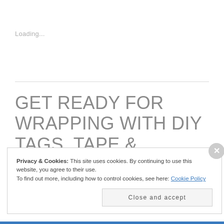Loading...
GET READY FOR WRAPPING WITH DIY TAGS, TAPE & LABELS!
Privacy & Cookies: This site uses cookies. By continuing to use this website, you agree to their use.
To find out more, including how to control cookies, see here: Cookie Policy
Close and accept